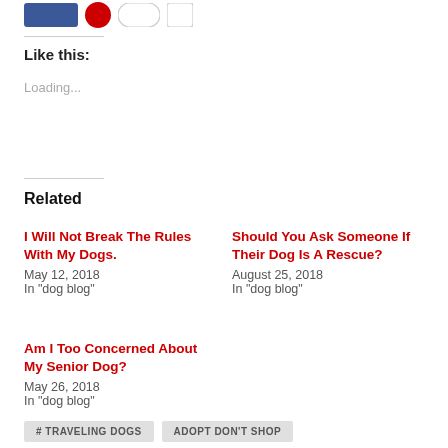[Figure (other): Social sharing buttons: Facebook (blue), Pinterest (red circle), email/share (outline circle), and more (outline square)]
Like this:
Loading...
Related
I Will Not Break The Rules With My Dogs.
May 12, 2018
In "dog blog"
Should You Ask Someone If Their Dog Is A Rescue?
August 25, 2018
In "dog blog"
Am I Too Concerned About My Senior Dog?
May 26, 2018
In "dog blog"
# TRAVELING DOGS   ADOPT DON'T SHOP